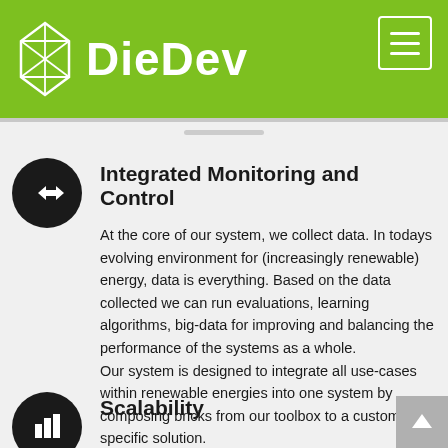DieDev
Integrated Monitoring and Control
At the core of our system, we collect data. In todays evolving environment for (increasingly renewable) energy, data is everything. Based on the data collected we can run evaluations, learning algorithms, big-data for improving and balancing the performance of the systems as a whole.
Our system is designed to integrate all use-cases within renewable energies into one system by composing bricks from our toolbox to a customer specific solution.
Scalability